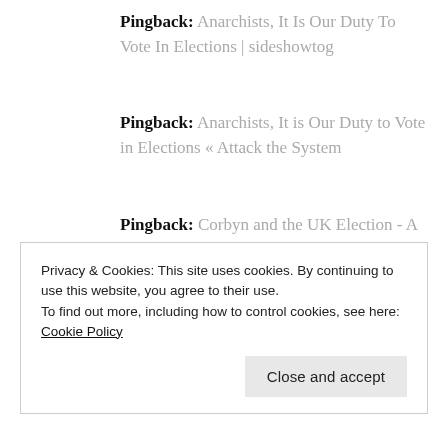Pingback: Anarchists, It Is Our Duty To Vote In Elections | sideshowtog
Pingback: Anarchists, It is Our Duty to Vote in Elections « Attack the System
Pingback: Corbyn and the UK Election - A New Day for Electoralism? - Black Rose Anarchist Federation
Privacy & Cookies: This site uses cookies. By continuing to use this website, you agree to their use.
To find out more, including how to control cookies, see here: Cookie Policy
Close and accept